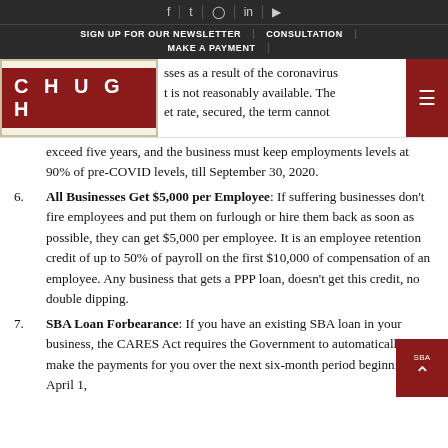SIGN UP FOR OUR NEWSLETTER | CONSULTATION | MAKE A PAYMENT
[Figure (logo): CHUGH law firm logo — white text on dark red background inside a cream/beige bordered box]
losses as a result of the coronavirus ... t is not reasonably available. The ... et rate, secured, the term cannot exceed five years, and the business must keep employments levels at 90% of pre-COVID levels, till September 30, 2020.
6. All Businesses Get $5,000 per Employee: If suffering businesses don't fire employees and put them on furlough or hire them back as soon as possible, they can get $5,000 per employee. It is an employee retention credit of up to 50% of payroll on the first $10,000 of compensation of an employee. Any business that gets a PPP loan, doesn't get this credit, no double dipping.
7. SBA Loan Forbearance: If you have an existing SBA loan in your business, the CARES Act requires the Government to automatically make the payments for you over the next six-month period beginning April 1,